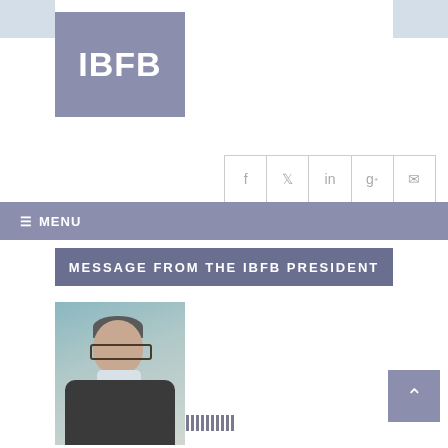[Figure (logo): IBFB logo — white bold text 'IBFB' on a muted blue-grey square background]
[Figure (screenshot): Social media sharing icons bar with f (Facebook), bird (Twitter), in (LinkedIn), g+ (Google+), and envelope (email) icons in a bordered row]
[Figure (screenshot): Navigation bar with hamburger menu icon and 'MENU' text on muted blue-grey background, with barcode-style decorative strip]
MESSAGE FROM THE IBFB PRESIDENT
[Figure (photo): Portrait photo of the IBFB President: a man with glasses, grey hair, wearing a dark suit jacket and light shirt, against a teal/light background]